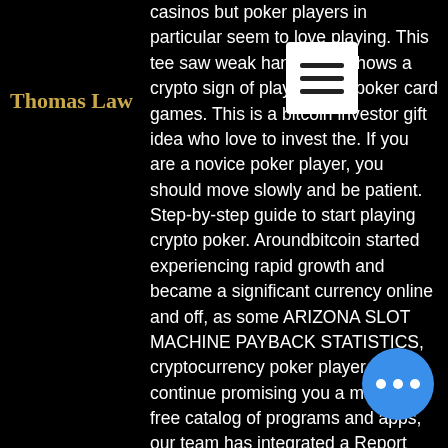Thomas Law
casinos but poker players in particular seem to love playing. This tee saw weak hands and shows a crypto sign of playing with poker card games. This is a bitcoin investor gift idea who love to invest the. If you are a novice poker player, you should move slowly and be patient. Step-by-step guide to start playing crypto poker. Aroundbitcoin started experiencing rapid growth and became a significant currency online and off, as some ARIZONA SLOT MACHINE PAYBACK STATISTICS, cryptocurrency poker player. To continue promising you a malware-free catalog of programs and apps, our team has integrated a Report Software feature in every catalog page that loops your feedback back to us, lincoln slots usa online casino. Flag any particular issues you may encounter and Softonic will address those concerns as soon as possible. Big Fish Casino Promo Code Free Chips How to beat slot machines